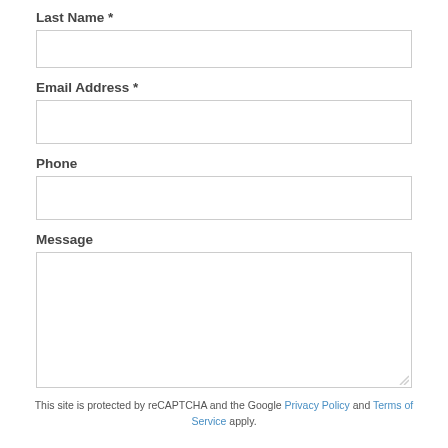Last Name *
[Figure (other): Empty text input field for Last Name]
Email Address *
[Figure (other): Empty text input field for Email Address]
Phone
[Figure (other): Empty text input field for Phone]
Message
[Figure (other): Empty textarea for Message]
This site is protected by reCAPTCHA and the Google Privacy Policy and Terms of Service apply.